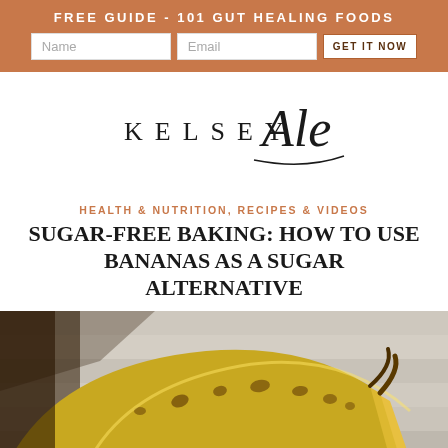FREE GUIDE - 101 GUT HEALING FOODS
[Figure (logo): Kelsey Ale script and print logo]
HEALTH & NUTRITION, RECIPES & VIDEOS
SUGAR-FREE BAKING: HOW TO USE BANANAS AS A SUGAR ALTERNATIVE
[Figure (photo): Overripe spotted bananas on a light wooden surface]